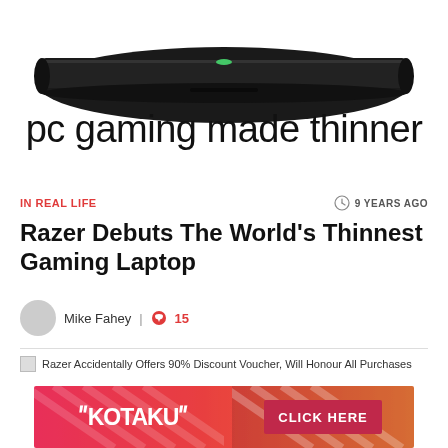[Figure (photo): A thin black gaming laptop viewed from the side/top, shown against white background, with text 'pc gaming made thinner' below it]
IN REAL LIFE
9 YEARS AGO
Razer Debuts The World's Thinnest Gaming Laptop
Mike Fahey | 15
Razer Accidentally Offers 90% Discount Voucher, Will Honour All Purchases
[Figure (advertisement): Kotaku branded advertisement banner with red/orange gradient background, Kotaku logo on left and CLICK HERE button on right]